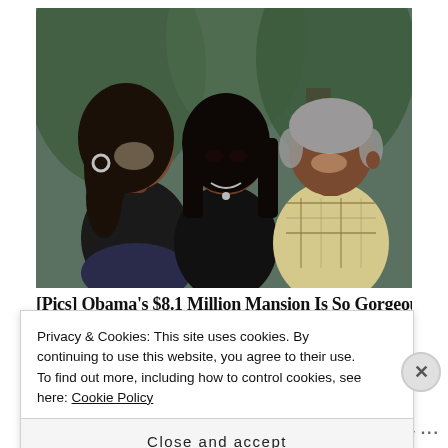[Figure (photo): Family photo of a woman on the left with long dark hair wearing a black top, a young woman in the center wearing a black top with a necklace, and a man on the right with short gray hair wearing a plaid shirt, posing together outdoors in front of trees.]
[Pics] Obama's $8.1 Million Mansion Is So Gorgeous
Privacy & Cookies: This site uses cookies. By continuing to use this website, you agree to their use.
To find out more, including how to control cookies, see here: Cookie Policy
Close and accept